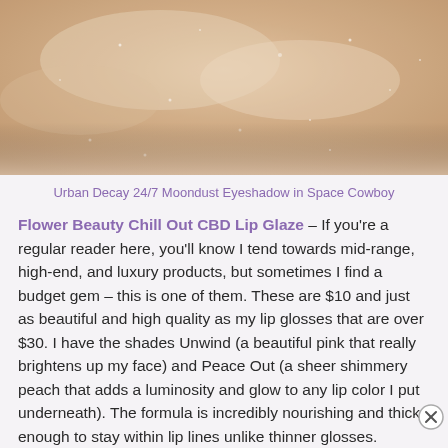[Figure (photo): Close-up swatch of a shimmery beige/champagne eyeshadow on skin texture]
Urban Decay 24/7 Moondust Eyeshadow in Space Cowboy
Flower Beauty Chill Out CBD Lip Glaze – If you're a regular reader here, you'll know I tend towards mid-range, high-end, and luxury products, but sometimes I find a budget gem – this is one of them. These are $10 and just as beautiful and high quality as my lip glosses that are over $30. I have the shades Unwind (a beautiful pink that really brightens up my face) and Peace Out (a sheer shimmery peach that adds a luminosity and glow to any lip color I put underneath). The formula is incredibly nourishing and thick enough to stay within lip lines unlike thinner glosses.
Advertisements